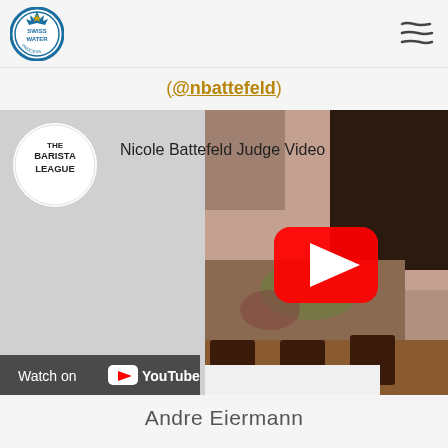Swiss Water Process logo and hamburger menu
(@nbattefeld)
[Figure (screenshot): YouTube video embed thumbnail showing 'Nicole Battefeld Judge Video' with The Barista League logo, a woman smiling with tattoos holding coffee cups, a red YouTube play button, and a 'Watch on YouTube' bar at the bottom left.]
Andre Eiermann